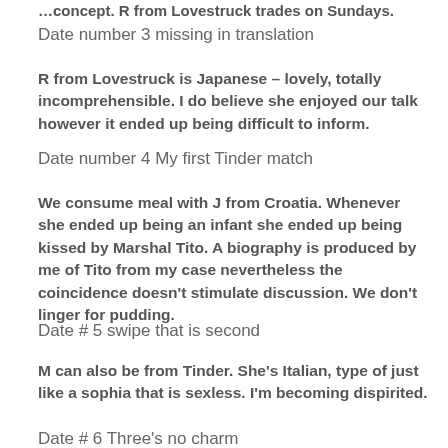…concept. R from Lovestruck trades on Sundays.
Date number 3 missing in translation
R from Lovestruck is Japanese – lovely, totally incomprehensible. I do believe she enjoyed our talk however it ended up being difficult to inform.
Date number 4 My first Tinder match
We consume meal with J from Croatia. Whenever she ended up being an infant she ended up being kissed by Marshal Tito. A biography is produced by me of Tito from my case nevertheless the coincidence doesn't stimulate discussion. We don't linger for pudding.
Date # 5 swipe that is second
M can also be from Tinder. She's Italian, type of just like a sophia that is sexless. I'm becoming dispirited.
Date # 6 Three's no charm
My 3rd date associated with the time is L from